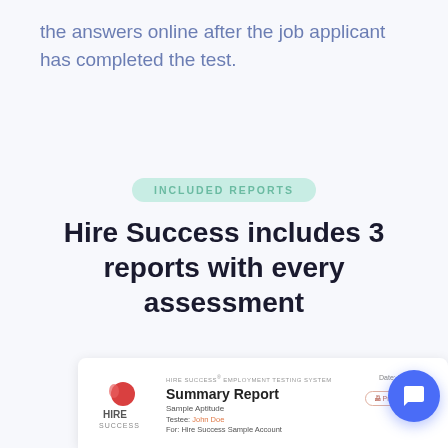the answers online after the job applicant has completed the test.
INCLUDED REPORTS
Hire Success includes 3 reports with every assessment
[Figure (screenshot): Sample report card showing Hire Success Employment Testing System Summary Report for Sample Aptitude test, Testee: John Doe, For: Hire Success Sample Account, with date and print/share buttons]